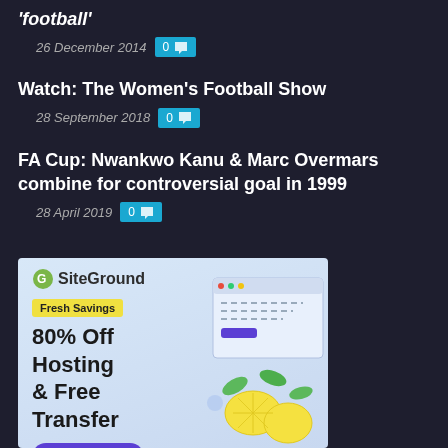football
26 December 2014   0 💬
Watch: The Women's Football Show
28 September 2018   0 💬
FA Cup: Nwankwo Kanu & Marc Overmars combine for controversial goal in 1999
28 April 2019   0 💬
[Figure (illustration): SiteGround advertisement banner with light blue background. Shows SiteGround logo, 'Fresh Savings' yellow badge, '80% Off Hosting & Free Transfer' headline, illustration of browser window with lemons, and 'START NOW' purple button.]